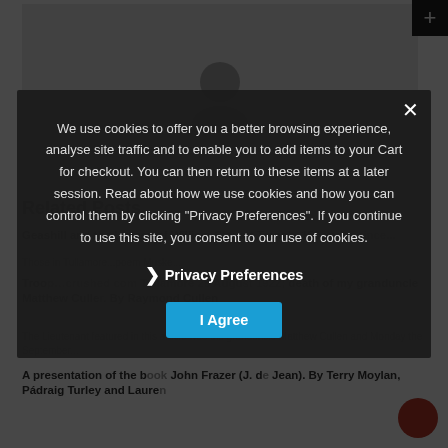[Figure (illustration): User profile placeholder icon on a light gray background]
Related Posts
Geashill and the Legacy of William Steuart Trench, 150 years since...
Those in Tullamore...poem Muske...
Troop...crushed com Tullamore 29 August 1922; death of my granduncle Matthew Cullen. By Raymond Cullen
The Lieutenant featured in this article was the granduncle Matthew Cullen and Monday the September...
A presentation of the book John Frazer (J. de Jean). By Terry Moylan, Pádraig Turley and Lauren
We use cookies to offer you a better browsing experience, analyse site traffic and to enable you to add items to your Cart for checkout. You can then return to these items at a later session. Read about how we use cookies and how you can control them by clicking "Privacy Preferences". If you continue to use this site, you consent to our use of cookies.
Privacy Preferences
I Agree